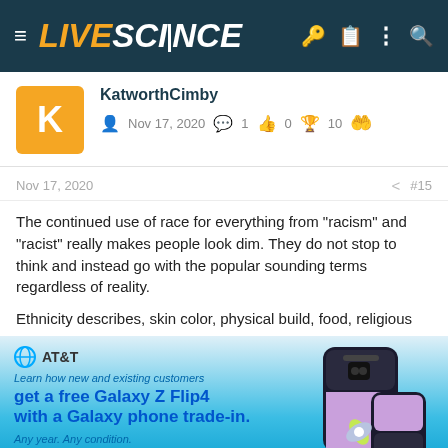LIVESCIENCE
KatworthCimby
Nov 17, 2020   1   0   10
Nov 17, 2020   #15
The continued use of race for everything from "racism" and "racist" really makes people look dim. They do not stop to think and instead go with the popular sounding terms regardless of reality.
Ethnicity describes, skin color, physical build, food, religious
[Figure (screenshot): AT&T advertisement for free Galaxy Z Flip4 with a Galaxy phone trade-in. Any year. Any condition. Learn more button. Samsung Galaxy Z Flip4.]